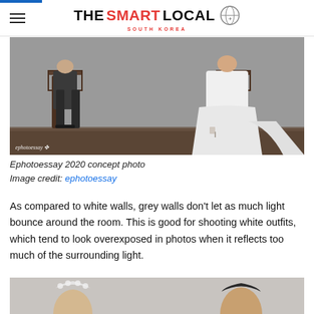THE SMART LOCAL SOUTH KOREA
[Figure (photo): Wedding concept photo showing a man in dark suit and woman in white dress seated on chairs against a grey wall background, with watermark 'ephotoessay']
Ephotoessay 2020 concept photo
Image credit: ephotoessay
As compared to white walls, grey walls don't let as much light bounce around the room. This is good for shooting white outfits, which tend to look overexposed in photos when it reflects too much of the surrounding light.
[Figure (photo): Partial view of wedding couple photo — bride with floral crown and groom, grey background]